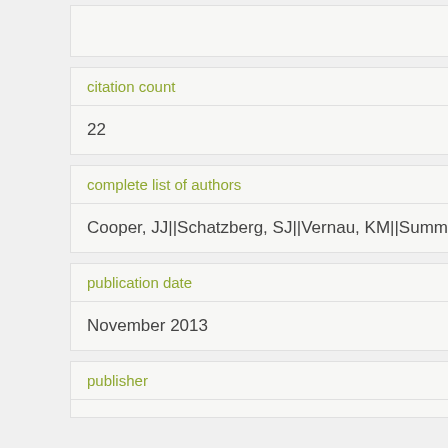citation count
22
complete list of authors
Cooper, JJ||Schatzberg, SJ||Vernau, KM||Summers
publication date
November 2013
publisher